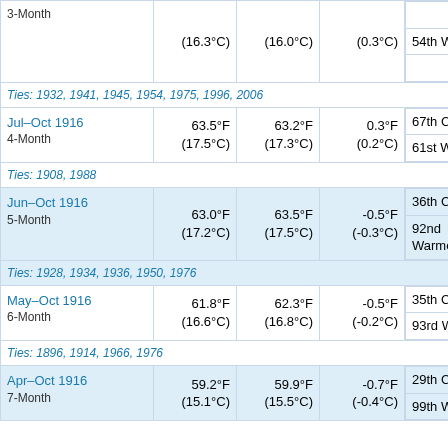| Period | Actual | Normal | Departure | Rank |
| --- | --- | --- | --- | --- |
| 3-Month | (16.3°C) | (16.0°C) | (0.3°C) | 54th Warmest |
| Ties: 1932, 1941, 1945, 1954, 1975, 1996, 2006 |  |  |  |  |
| Jul–Oct 1916
4-Month | 63.5°F
(17.5°C) | 63.2°F
(17.3°C) | 0.3°F
(0.2°C) | 67th Coolest
61st Warmest |
| Ties: 1908, 1988 |  |  |  |  |
| Jun–Oct 1916
5-Month | 63.0°F
(17.2°C) | 63.5°F
(17.5°C) | -0.5°F
(-0.3°C) | 36th Coolest
92nd Warmest |
| Ties: 1928, 1934, 1936, 1950, 1976 |  |  |  |  |
| May–Oct 1916
6-Month | 61.8°F
(16.6°C) | 62.3°F
(16.8°C) | -0.5°F
(-0.2°C) | 35th Coolest
93rd Warmest |
| Ties: 1896, 1914, 1966, 1976 |  |  |  |  |
| Apr–Oct 1916
7-Month | 59.2°F
(15.1°C) | 59.9°F
(15.5°C) | -0.7°F
(-0.4°C) | 29th Coolest
99th Warmest |